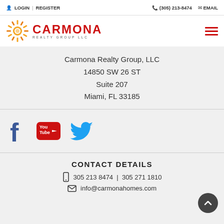LOGIN | REGISTER   (305) 213-8474   EMAIL
[Figure (logo): Carmona Realty Group LLC logo with sunburst icon and red text]
Carmona Realty Group, LLC
14850 SW 26 ST
Suite 207
Miami, FL 33185
[Figure (infographic): Social media icons: Facebook (blue f), YouTube (red logo), Twitter (blue bird)]
CONTACT DETAILS
305 213 8474  |  305 271 1810
info@carmonahomes.com